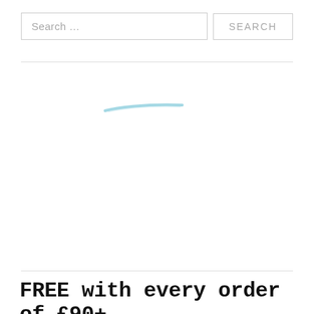Search …
SEARCH
[Figure (illustration): A small blue diagonal smear/stroke in the upper-center area of the blank content region]
FREE with every order of £90+